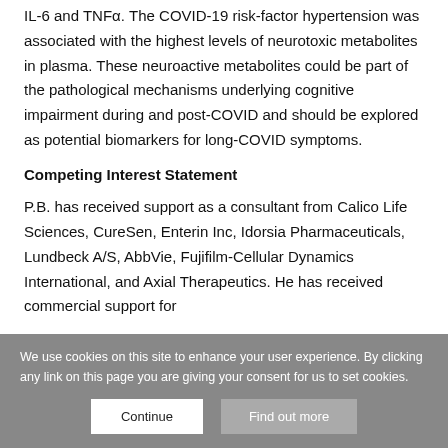IL-6 and TNFα. The COVID-19 risk-factor hypertension was associated with the highest levels of neurotoxic metabolites in plasma. These neuroactive metabolites could be part of the pathological mechanisms underlying cognitive impairment during and post-COVID and should be explored as potential biomarkers for long-COVID symptoms.
Competing Interest Statement
P.B. has received support as a consultant from Calico Life Sciences, CureSen, Enterin Inc, Idorsia Pharmaceuticals, Lundbeck A/S, AbbVie, Fujifilm-Cellular Dynamics International, and Axial Therapeutics. He has received commercial support for
We use cookies on this site to enhance your user experience. By clicking any link on this page you are giving your consent for us to set cookies.